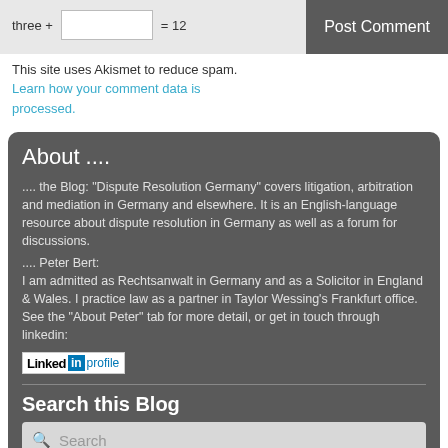three + [input] = 12
Post Comment
This site uses Akismet to reduce spam.
Learn how your comment data is processed.
About ....
.... the Blog: "Dispute Resolution Germany" covers litigation, arbitration and mediation in Germany and elsewhere. It is an English-language resource about dispute resolution in Germany as well as a forum for discussions.
.... Peter Bert:
I am admitted as Rechtsanwalt in Germany and as a Solicitor in England & Wales. I practice law as a partner in Taylor Wessing's Frankfurt office. See the "About Peter" tab for more detail, or get in touch through linkedin:
[Figure (logo): LinkedIn profile badge showing 'Linked in profile']
Search this Blog
Search